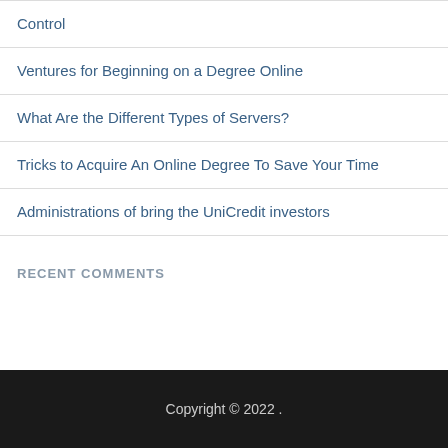Control
Ventures for Beginning on a Degree Online
What Are the Different Types of Servers?
Tricks to Acquire An Online Degree To Save Your Time
Administrations of bring the UniCredit investors
RECENT COMMENTS
Copyright © 2022 .